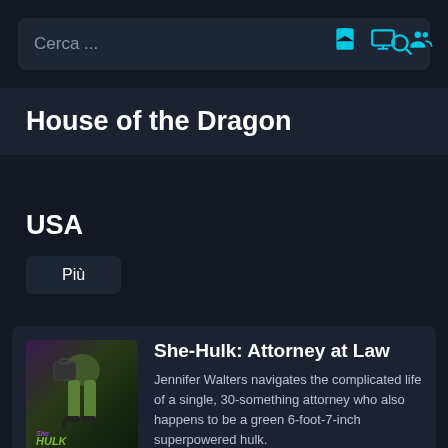[Figure (screenshot): Search bar with placeholder text 'Cerca ...' and a cyan magnifying glass icon]
[Figure (other): Three cyan icons: save/bookmark, monitor/screen, and people/users]
House of the Dragon
USA
Più
[Figure (photo): She-Hulk: Attorney at Law movie poster showing green legs in heels carrying a briefcase, with 'She HULK ATTORNEY AT LAW' text]
She-Hulk: Attorney at Law
Jennifer Walters navigates the complicated life of a single, 30-something attorney who also happens to be a green 6-foot-7-inch superpowered hulk.